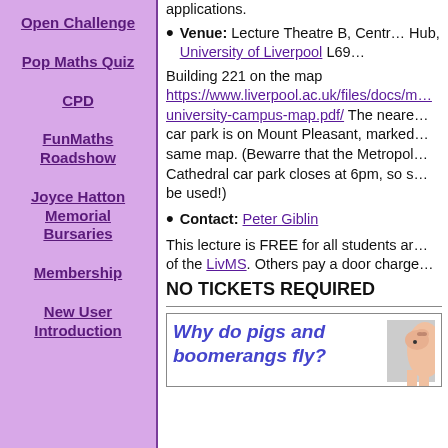Open Challenge
Pop Maths Quiz
CPD
FunMaths Roadshow
Joyce Hatton Memorial Bursaries
Membership
New User Introduction
applications.
Venue: Lecture Theatre B, Centr… Hub, University of Liverpool L69…
Building 221 on the map https://www.liverpool.ac.uk/files/docs/m…university-campus-map.pdf/ The neare… car park is on Mount Pleasant, marked… same map. (Bewarre that the Metropol… Cathedral car park closes at 6pm, so s… be used!)
Contact: Peter Giblin
This lecture is FREE for all students an… of the LivMS. Others pay a door charge…
NO TICKETS REQUIRED
[Figure (illustration): Promotional box for an event titled 'Why do pigs and boomerangs fly?' with italic blue text, and a partial image of a pig on the right side.]